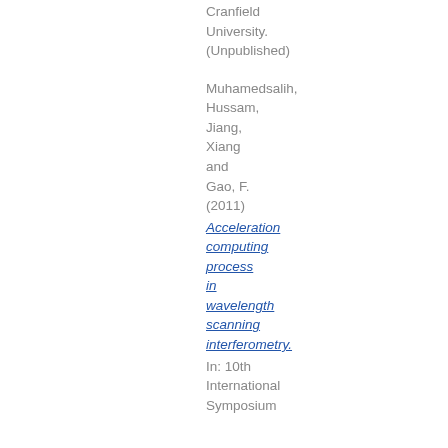Cranfield University. (Unpublished)

Muhamedsalih, Hussam, Jiang, Xiang and Gao, F. (2011) Acceleration computing process in wavelength scanning interferometry. In: 10th International Symposium